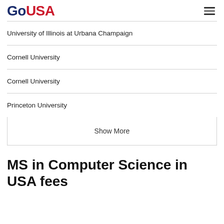GoUSA
University of Illinois at Urbana Champaign
Cornell University
Cornell University
Princeton University
Show More
MS in Computer Science in USA fees